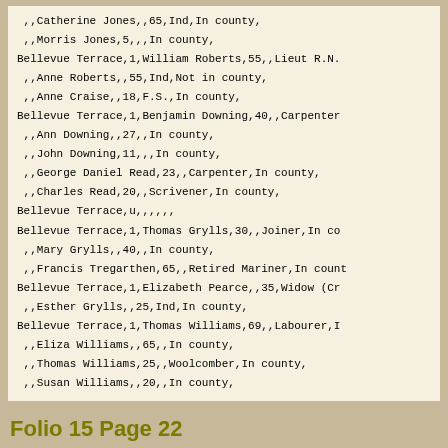| ,,Catherine Jones,,65,Ind,In county, |
| ,,Morris Jones,5,,,In county, |
| Bellevue Terrace,1,William Roberts,55,,Lieut R.N. |
| ,,Anne Roberts,,55,Ind,Not in county, |
| ,,Anne Craise,,18,F.S.,In county, |
| Bellevue Terrace,1,Benjamin Downing,40,,Carpenter |
| ,,Ann Downing,,27,,In county, |
| ,,John Downing,11,,,In county, |
| ,,George Daniel Read,23,,Carpenter,In county, |
| ,,Charles Read,20,,Scrivener,In county, |
| Bellevue Terrace,u,,,,,, |
| Bellevue Terrace,1,Thomas Grylls,30,,Joiner,In co |
| ,,Mary Grylls,,40,,In county, |
| ,,Francis Tregarthen,65,,Retired Mariner,In count |
| Bellevue Terrace,1,Elizabeth Pearce,,35,Widow (Cr |
| ,,Esther Grylls,,25,Ind,In county, |
| Bellevue Terrace,1,Thomas Williams,69,,Labourer,I |
| ,,Eliza Williams,,65,,In county, |
| ,,Thomas Williams,25,,Woolcomber,In county, |
| ,,Susan Williams,,20,,In county, |
Folio 15 Page 22
| ,,John Macklen,25,,Labourer,In county, |
| ,,Harriet Ann Macklen,,20,Dressmaker,In county, |